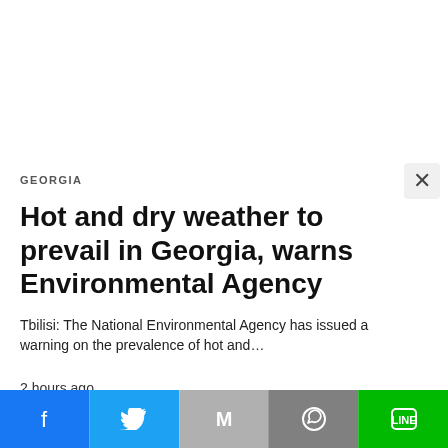GEORGIA
Hot and dry weather to prevail in Georgia, warns Environmental Agency
Tbilisi: The National Environmental Agency has issued a warning on the prevalence of hot and…
2 hours ago
[Figure (photo): Exterior photograph of a government or institutional building with an American flag flying outside, bare trees in foreground, urban environment]
Share buttons: Facebook, Twitter, Gmail, WhatsApp, Line